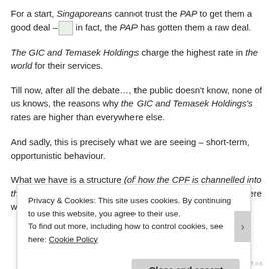For a start, Singaporeans cannot trust the PAP to get them a good deal – in fact, the PAP has gotten them a raw deal.
The GIC and Temasek Holdings charge the highest rate in the world for their services.
Till now, after all the debate…, the public doesn't know, none of us knows, the reasons why the GIC and Temasek Holdings's rates are higher than everywhere else.
And sadly, this is precisely what we are seeing – short-term, opportunistic behaviour.
What we have is a structure (of how the CPF is channelled into the GIC and Temasek Holdings) that is quite convoluted. There were other options t
Privacy & Cookies: This site uses cookies. By continuing to use this website, you agree to their use.
To find out more, including how to control cookies, see here: Cookie Policy
REDIRECT.AS